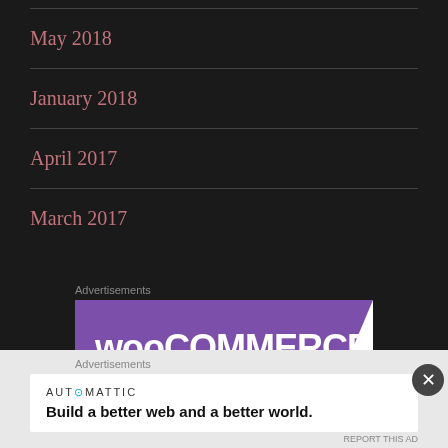May 2018
January 2018
April 2017
March 2017
Advertisements
[Figure (screenshot): WooCommerce advertisement banner with purple background and white WooCommerce logo text]
Advertisements
[Figure (screenshot): Automattic advertisement: 'Build a better web and a better world.']